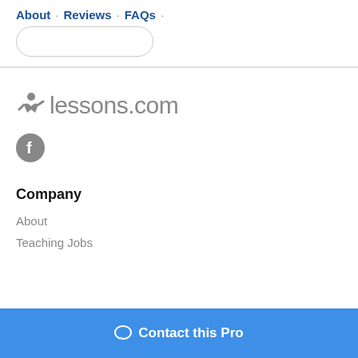About · Reviews · FAQs ·
[Figure (logo): lessons.com logo with star figure icon and gray text]
[Figure (logo): Facebook social icon - gray circle with white f]
Company
About
Teaching Jobs
Contact this Pro